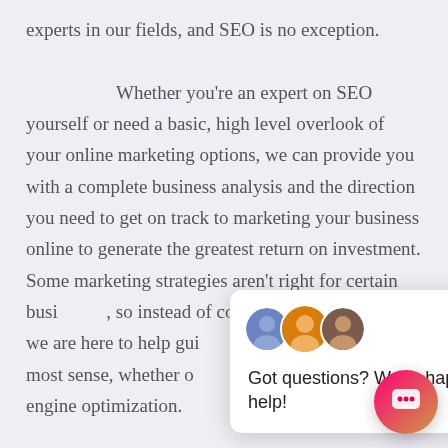experts in our fields, and SEO is no exception.

Whether you're an expert on SEO yourself or need a basic, high level overlook of your online marketing options, we can provide you with a complete business analysis and the direction you need to get on track to marketing your business online to generate the greatest return on investment. Some marketing strategies aren't right for certain businesses, so instead of convincing t… we are here to help gui… most sense, whether o… engine optimization.
[Figure (screenshot): Chat popup widget showing three avatar photos and the message 'Got questions? We're happy to help!' with a close (×) button]
The most common question we get about S… from business owners in Salem as well as other regions